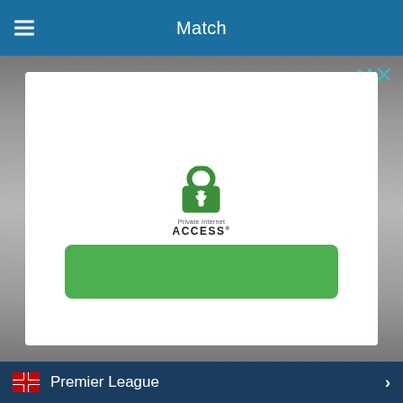Match
[Figure (screenshot): Mobile app advertisement overlay showing Private Internet Access logo (green padlock icon) with 'Private Internet Access ACCESS' text and a green button below, on a gray blurred background]
Premier League